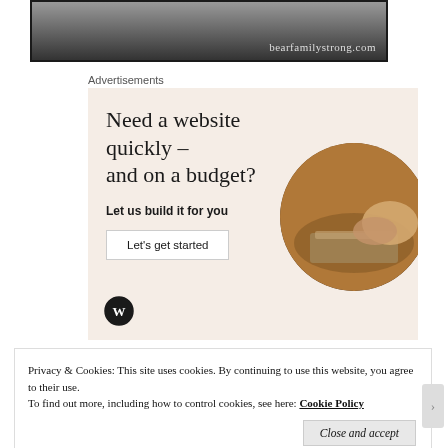[Figure (photo): Top portion of a photo showing a dark background with the watermark text 'bearfamilystrong.com']
Advertisements
[Figure (infographic): WordPress advertisement with beige/cream background. Headline: 'Need a website quickly – and on a budget?'. Subtext: 'Let us build it for you'. Button: 'Let's get started'. Circular photo of person typing on laptop. WordPress logo at bottom left.]
Privacy & Cookies: This site uses cookies. By continuing to use this website, you agree to their use.
To find out more, including how to control cookies, see here: Cookie Policy
Close and accept